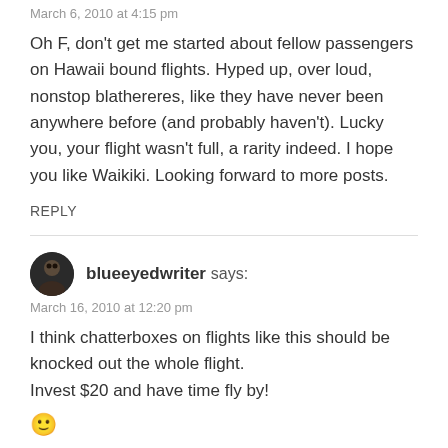March 6, 2010 at 4:15 pm
Oh F, don't get me started about fellow passengers on Hawaii bound flights. Hyped up, over loud, nonstop blathereres, like they have never been anywhere before (and probably haven't). Lucky you, your flight wasn't full, a rarity indeed. I hope you like Waikiki. Looking forward to more posts.
REPLY
blueeyedwriter says:
March 16, 2010 at 12:20 pm
I think chatterboxes on flights like this should be knocked out the whole flight.
Invest $20 and have time fly by!
🙂